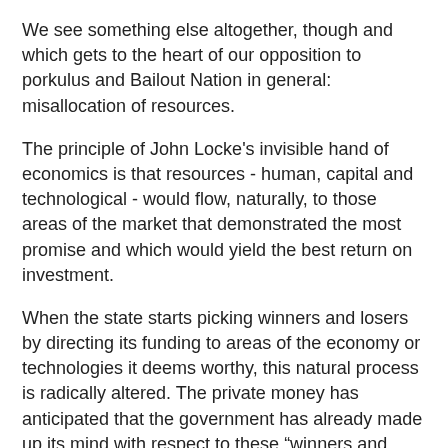We see something else altogether, though and which gets to the heart of our opposition to porkulus and Bailout Nation in general: misallocation of resources.
The principle of John Locke's invisible hand of economics is that resources - human, capital and technological - would flow, naturally, to those areas of the market that demonstrated the most promise and which would yield the best return on investment.
When the state starts picking winners and losers by directing its funding to areas of the economy or technologies it deems worthy, this natural process is radically altered. The private money has anticipated that the government has already made up its mind with respect to these “winners and losers” regardless of its particular long-term viability in an open market. There are less available resources to be devoted to the real potential winners and therefore, less of a chance for those more viable technologies to be brought to market.
Also, private money may be anticipating the easing of regulatory burdens on the government designated “winner”